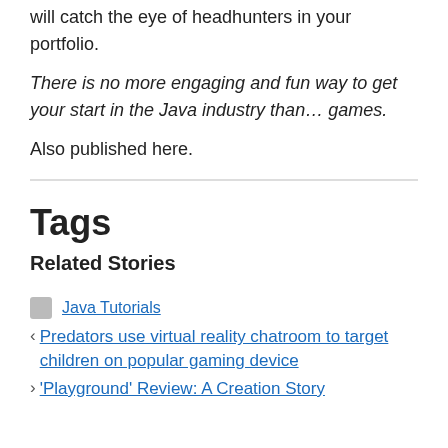will catch the eye of headhunters in your portfolio.
There is no more engaging and fun way to get your start in the Java industry than… games.
Also published here.
Tags
Related Stories
Java Tutorials
Predators use virtual reality chatroom to target children on popular gaming device
'Playground' Review: A Creation Story